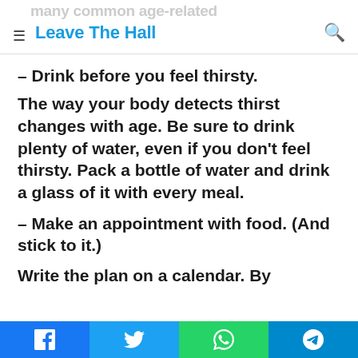Leave The Hall
– Drink before you feel thirsty.
The way your body detects thirst changes with age. Be sure to drink plenty of water, even if you don't feel thirsty. Pack a bottle of water and drink a glass of it with every meal.
– Make an appointment with food. (And stick to it.)
Write the plan on a calendar. By
Facebook Twitter WhatsApp Telegram